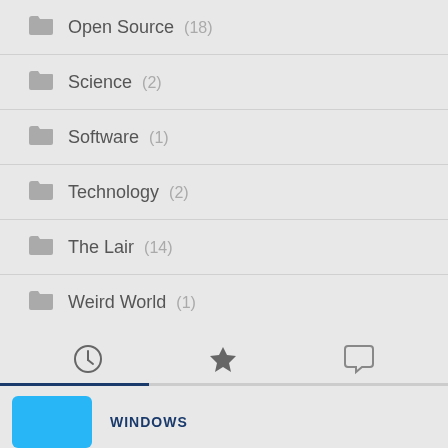Open Source (18)
Science (2)
Software (1)
Technology (2)
The Lair (14)
Weird World (1)
Windows (15)
WINDOWS